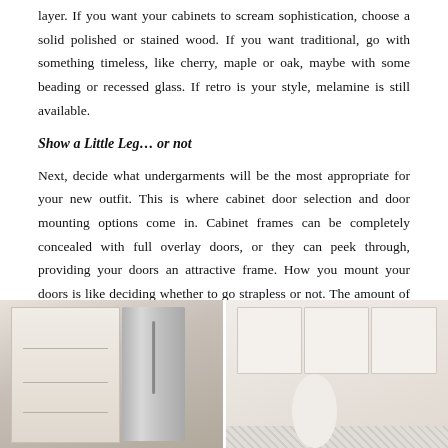layer. If you want your cabinets to scream sophistication, choose a solid polished or stained wood. If you want traditional, go with something timeless, like cherry, maple or oak, maybe with some beading or recessed glass. If retro is your style, melamine is still available.
Show a Little Leg… or not
Next, decide what undergarments will be the most appropriate for your new outfit. This is where cabinet door selection and door mounting options come in. Cabinet frames can be completely concealed with full overlay doors, or they can peek through, providing your doors an attractive frame. How you mount your doors is like deciding whether to go strapless or not. The amount of skin you choose to reveal should complement the overall look and feel you are trying to achieve.
[Figure (photo): Two kitchen photos side by side: left shows a refrigerator with glass-door cabinet, right shows white upper cabinets with decorative items on counter and patterned backsplash.]